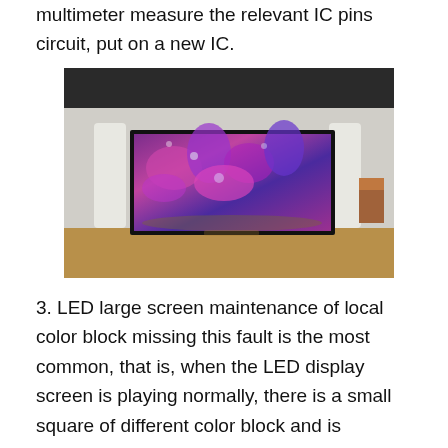multimeter measure the relevant IC pins circuit, put on a new IC.
[Figure (photo): An indoor large LED display screen showing a vivid purple and pink floral/abstract image, mounted on a white wall in a large room with a wooden floor. Two white cylindrical pillars flank the screen, and a wooden chair is visible on the right side.]
3. LED large screen maintenance of local color block missing this fault is the most common, that is, when the LED display screen is playing normally, there is a small square of different color block and is